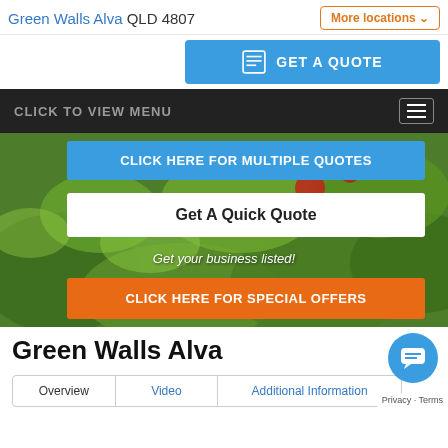Green Walls Alva QLD 4807 | More locations
GET A QUOTE
CLICK TO VIEW MENU
CLICK HERE FOR MULTIPLE QUOTES
Get A Quick Quote
Get your business listed!
CLICK HERE FOR SPECIAL OFFERS
Green Walls Alva
Overview | Video | Additional Information